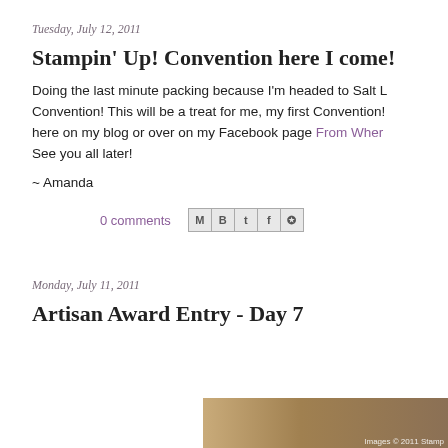Tuesday, July 12, 2011
Stampin' Up! Convention here I come!
Doing the last minute packing because I'm headed to Salt L... Convention! This will be a treat for me, my first Convention! here on my blog or over on my Facebook page From Wher... See you all later!
~ Amanda
0 comments
Monday, July 11, 2011
Artisan Award Entry - Day 7
[Figure (photo): Partial photo visible at bottom right, appears to be a stamped card or craft project with a watermark 'Images © 2011 Stamp...']